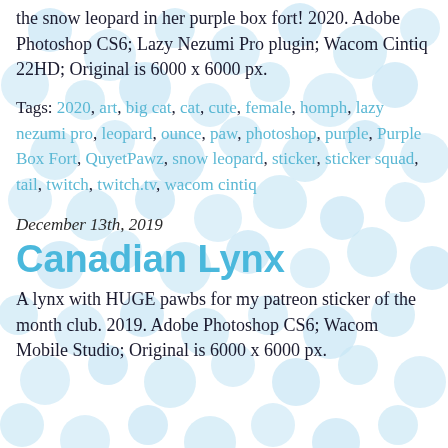the snow leopard in her purple box fort! 2020. Adobe Photoshop CS6; Lazy Nezumi Pro plugin; Wacom Cintiq 22HD; Original is 6000 x 6000 px.
Tags: 2020, art, big cat, cat, cute, female, homph, lazy nezumi pro, leopard, ounce, paw, photoshop, purple, Purple Box Fort, QuyetPawz, snow leopard, sticker, sticker squad, tail, twitch, twitch.tv, wacom cintiq
December 13th, 2019
Canadian Lynx
A lynx with HUGE pawbs for my patreon sticker of the month club. 2019. Adobe Photoshop CS6; Wacom Mobile Studio; Original is 6000 x 6000 px.